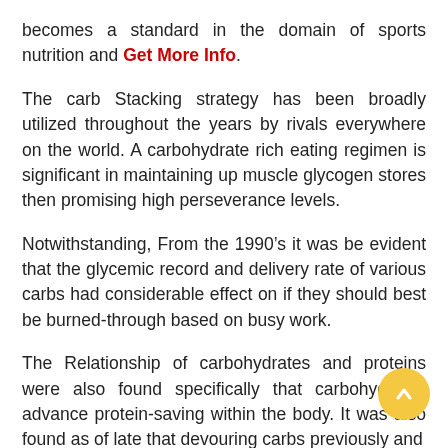becomes a standard in the domain of sports nutrition and Get More Info.
The carb Stacking strategy has been broadly utilized throughout the years by rivals everywhere on the world. A carbohydrate rich eating regimen is significant in maintaining up muscle glycogen stores then promising high perseverance levels.
Notwithstanding, From the 1990’s it was be evident that the glycemic record and delivery rate of various carbs had considerable effect on if they should best be burned-through based on busy work.
The Relationship of carbohydrates and proteins were also found specifically that carbohydrates advance protein-saving within the body. It was also found as of late that devouring carbs previously and